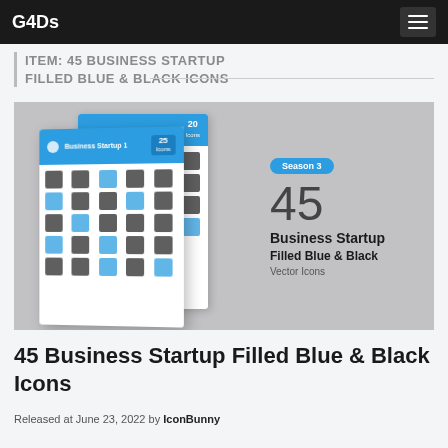G4Ds
ITEM: 45 BUSINESS STARTUP FILLED BLUE & BLACK ICONS
[Figure (illustration): Product preview image showing two icon sheets fanned out. The front sheet has a blue header with 'Business Startup 1' text and 25 icons label, containing rows of filled blue and black business icons. Right side text shows 'Season 3', large '45', 'Business Startup', 'Filled Blue & Black', 'Vector Icons' labels.]
45 Business Startup Filled Blue & Black Icons
Released at June 23, 2022 by IconBunny